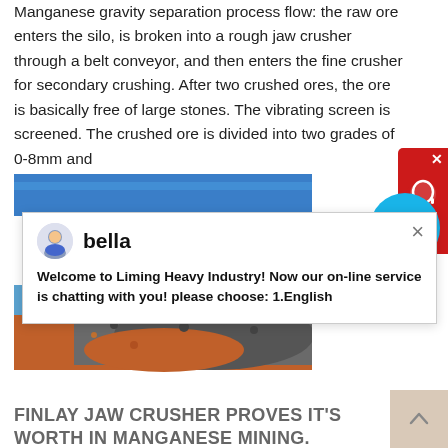Manganese gravity separation process flow: the raw ore enters the silo, is broken into a rough jaw crusher through a belt conveyor, and then enters the fine crusher for secondary crushing. After two crushed ores, the ore is basically free of large stones. The vibrating screen is screened. The crushed ore is divided into two grades of 0-8mm and
get price
[Figure (photo): Blue sky background strip, top portion of a manganese processing site image]
[Figure (screenshot): Chat popup from Liming Heavy Industry website featuring avatar of 'bella' and welcome message: Welcome to Liming Heavy Industry! Now our on-line service is chatting with you! please choose: 1.English]
[Figure (photo): Mining site photo showing crushed manganese ore with reddish-brown earth and dark grey stone aggregate]
FINLAY JAW CRUSHER PROVES IT'S WORTH IN MANGANESE MINING.
Aug 25, 2021 Finlay Jaw Crusher proves it's worth in manganese mining. Should you draw a straight line between the